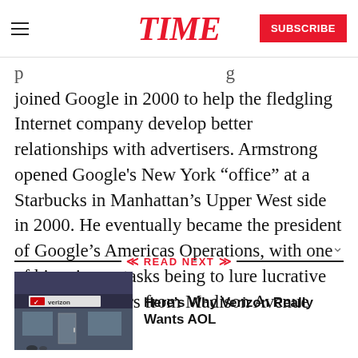TIME | SUBSCRIBE
joined Google in 2000 to help the fledgling Internet company develop better relationships with advertisers. Armstrong opened Google's New York “office” at a Starbucks in Manhattan’s Upper West side in 2000. He eventually became the president of Google’s Americas Operations, with one of his primary tasks being to lure lucrative brand advertisers from Madison Avenue onto Google’s
READ NEXT
[Figure (photo): Photo of a Verizon storefront sign]
Here’s Why Verizon Really Wants AOL